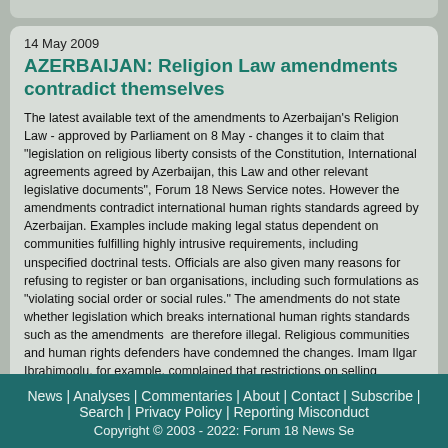14 May 2009
AZERBAIJAN: Religion Law amendments contradict themselves
The latest available text of the amendments to Azerbaijan's Religion Law - approved by Parliament on 8 May - changes it to claim that "legislation on religious liberty consists of the Constitution, International agreements agreed by Azerbaijan, this Law and other relevant legislative documents", Forum 18 News Service notes. However the amendments contradict international human rights standards agreed by Azerbaijan. Examples include making legal status dependent on communities fulfilling highly intrusive requirements, including unspecified doctrinal tests. Officials are also given many reasons for refusing to register or ban organisations, including such formulations as "violating social order or social rules." The amendments do not state whether legislation which breaks international human rights standards such as the amendments are therefore illegal. Religious communities and human rights defenders have condemned the changes. Imam Ilgar Ibrahimoglu, for example, complained that restrictions on selling religious literature and conducting religious education mean that "officials will interpret this as being a ban on activity which is not specifically approved."
News | Analyses | Commentaries | About | Contact | Subscribe | Search | Privacy Policy | Reporting Misconduct Copyright © 2003 - 2022: Forum 18 News Se